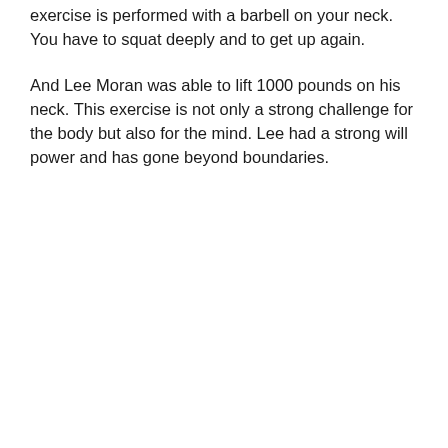exercise is performed with a barbell on your neck. You have to squat deeply and to get up again.
And Lee Moran was able to lift 1000 pounds on his neck. This exercise is not only a strong challenge for the body but also for the mind. Lee had a strong will power and has gone beyond boundaries.